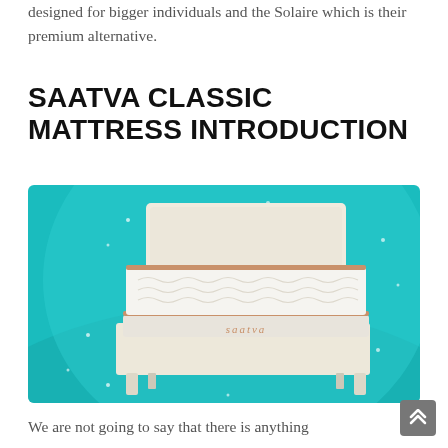designed for bigger individuals and the Solaire which is their premium alternative.
SAATVA CLASSIC MATTRESS INTRODUCTION
[Figure (photo): A Saatva Classic mattress displayed on a beige/cream upholstered bed frame against a teal/turquoise background with sparkle effects. The white mattress has gold/brown trim and displays the 'saatva' logo on the front.]
We are not going to say that there is anything